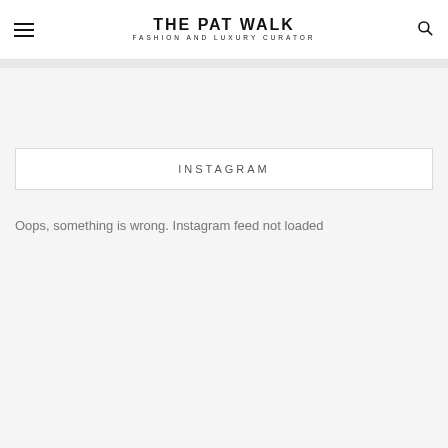THE PAT WALK — FASHION AND LUXURY CURATOR
INSTAGRAM
Oops, something is wrong. Instagram feed not loaded